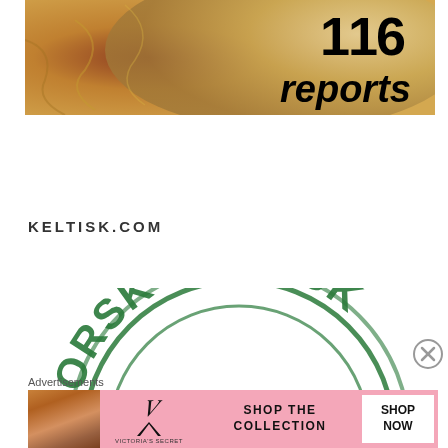[Figure (photo): Decorative image of ornate golden cushions/pillows with text overlay '116 reports' in bold black font on the right side]
KELTISK.COM
[Figure (logo): Green distressed stamp logo showing 'NORSK-KELTISK' text in arched format with decorative lines below, partially cropped]
Advertisements
[Figure (photo): Victoria's Secret advertisement banner with woman photo on left, VS logo, 'SHOP THE COLLECTION' text, and 'SHOP NOW' button on pink background]